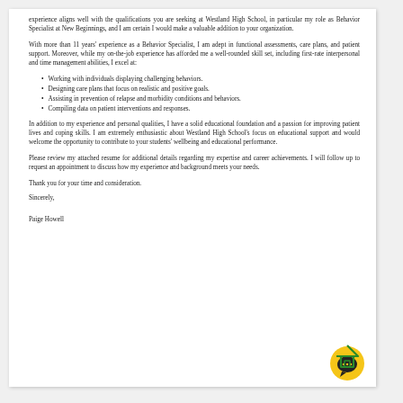experience aligns well with the qualifications you are seeking at Westland High School, in particular my role as Behavior Specialist at New Beginnings, and I am certain I would make a valuable addition to your organization.
With more than 11 years' experience as a Behavior Specialist, I am adept in functional assessments, care plans, and patient support. Moreover, while my on-the-job experience has afforded me a well-rounded skill set, including first-rate interpersonal and time management abilities, I excel at:
Working with individuals displaying challenging behaviors.
Designing care plans that focus on realistic and positive goals.
Assisting in prevention of relapse and morbidity conditions and behaviors.
Compiling data on patient interventions and responses.
In addition to my experience and personal qualities, I have a solid educational foundation and a passion for improving patient lives and coping skills. I am extremely enthusiastic about Westland High School's focus on educational support and would welcome the opportunity to contribute to your students' wellbeing and educational performance.
Please review my attached resume for additional details regarding my expertise and career achievements. I will follow up to request an appointment to discuss how my experience and background meets your needs.
Thank you for your time and consideration.
Sincerely,
Paige Howell
[Figure (logo): A yellow circle with a dark speech bubble icon, overlaid with a green house/home icon outline, serving as a brand logo in the bottom-right corner of the page.]